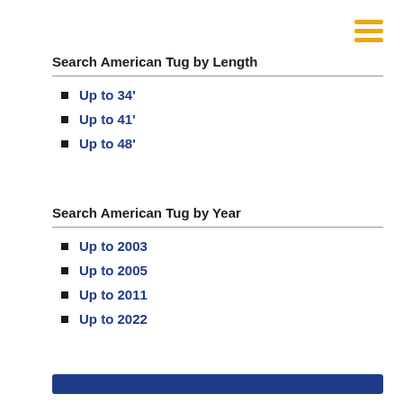[Figure (other): Hamburger menu icon: three horizontal yellow/gold bars]
Search American Tug by Length
Up to 34'
Up to 41'
Up to 48'
Search American Tug by Year
Up to 2003
Up to 2005
Up to 2011
Up to 2022